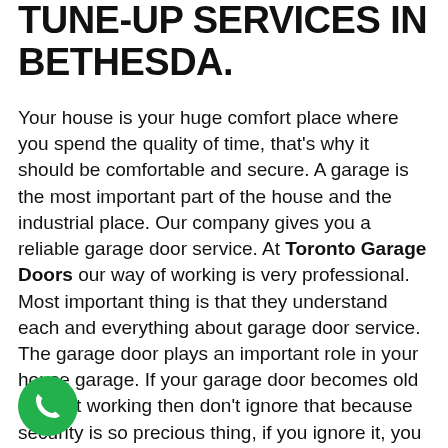TUNE-UP SERVICES IN BETHESDA.
Your house is your huge comfort place where you spend the quality of time, that's why it should be comfortable and secure. A garage is the most important part of the house and the industrial place. Our company gives you a reliable garage door service. At Toronto Garage Doors our way of working is very professional. Most important thing is that they understand each and everything about garage door service. The garage door plays an important role in your house garage. If your garage door becomes old and not working then don't ignore that because security is so precious thing, if you ignore it, you must be stuck in a dangerous situation. At we have a unique team that knows each part of the garage door and how it works. If you need our and you want any Garage Door Service in